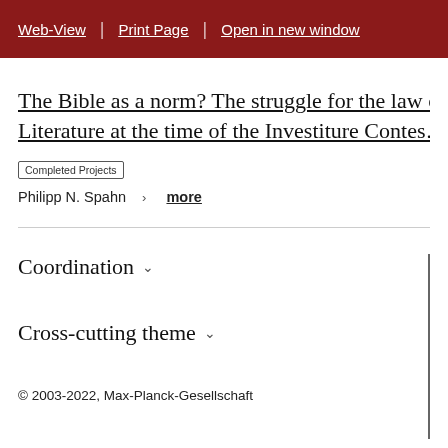Web-View | Print Page | Open in new window
The Bible as a norm? The struggle for the law o... Literature at the time of the Investiture Contest...
Completed Projects
Philipp N. Spahn  >  more
Coordination
Cross-cutting theme
© 2003-2022, Max-Planck-Gesellschaft